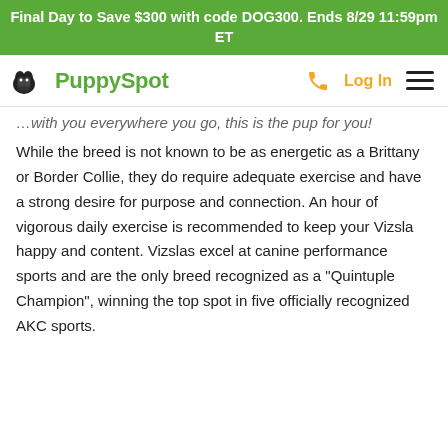Final Day to Save $300 with code DOG300. Ends 8/29 11:59pm ET
PuppySpot — Log In [nav]
...with you everywhere you go, this is the pup for you!
While the breed is not known to be as energetic as a Brittany or Border Collie, they do require adequate exercise and have a strong desire for purpose and connection. An hour of vigorous daily exercise is recommended to keep your Vizsla happy and content. Vizslas excel at canine performance sports and are the only breed recognized as a "Quintuple Champion", winning the top spot in five officially recognized AKC sports.